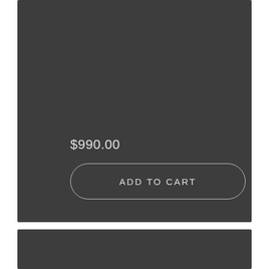$990.00
[Figure (screenshot): Dark gray panel with price $990.00 and an 'ADD TO CART' button with rounded border outline]
[Figure (screenshot): Dark gray panel at the bottom of the page]